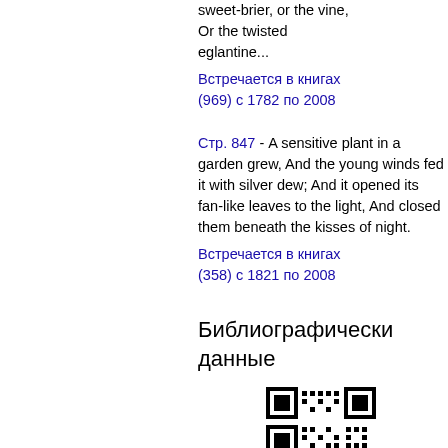sweet-brier, or the vine, Or the twisted eglantine...
Встречается в книгах (969) с 1782 по 2008
Стр. 847 - A sensitive plant in a garden grew, And the young winds fed it with silver dew; And it opened its fan-like leaves to the light, And closed them beneath the kisses of night.
Встречается в книгах (358) с 1821 по 2008
Библиографические данные
[Figure (other): QR code]